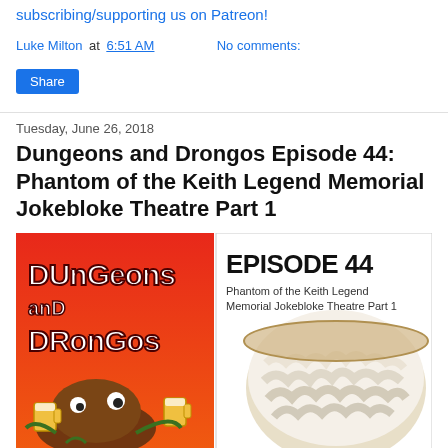subscribing/supporting us on Patreon!
Luke Milton at 6:51 AM    No comments:
Share
Tuesday, June 26, 2018
Dungeons and Drongos Episode 44: Phantom of the Keith Legend Memorial Jokebloke Theatre Part 1
[Figure (illustration): Podcast cover art for Dungeons and Drongos Episode 44: Phantom of the Keith Legend Memorial Jokebloke Theatre Part 1. Left half has red background with stylized text 'DUNGEONS AND DRONGOS' and cartoon monster characters. Right half shows Episode 44 title text on white background with subtitle, and a bowl of creamy food in the lower right.]